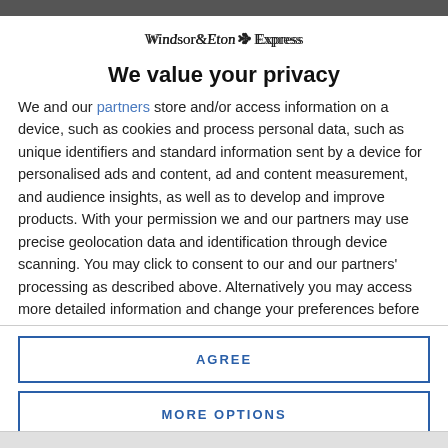[Figure (logo): Windsor & Eton Express newspaper logo with decorative emblem]
We value your privacy
We and our partners store and/or access information on a device, such as cookies and process personal data, such as unique identifiers and standard information sent by a device for personalised ads and content, ad and content measurement, and audience insights, as well as to develop and improve products. With your permission we and our partners may use precise geolocation data and identification through device scanning. You may click to consent to our and our partners' processing as described above. Alternatively you may access more detailed information and change your preferences before consenting or to refuse consenting. Please note that some processing of your
AGREE
MORE OPTIONS